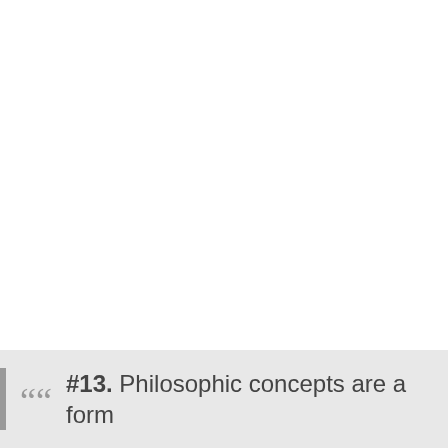““ #13. Philosophic concepts are a form